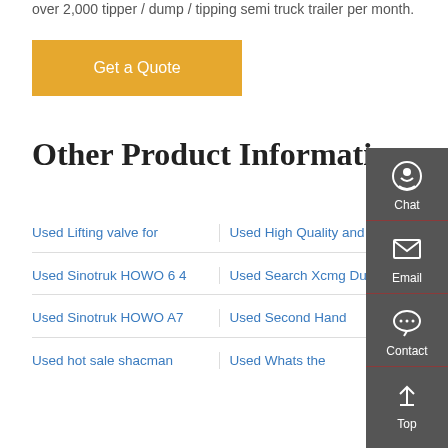over 2,000 tipper / dump / tipping semi truck trailer per month.
Get a Quote
Other Product Information
Used Lifting valve for
Used High Quality and
Used Sinotruk HOWO 6 4
Used Search Xcmg Dum
Used Sinotruk HOWO A7
Used Second Hand
Used hot sale shacman
Used Whats the